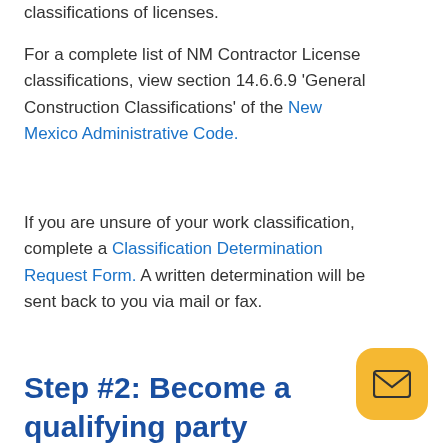classifications of licenses.
For a complete list of NM Contractor License classifications, view section 14.6.6.9 'General Construction Classifications' of the New Mexico Administrative Code.
If you are unsure of your work classification, complete a Classification Determination Request Form. A written determination will be sent back to you via mail or fax.
Step #2: Become a qualifying party
To become a qualifying party, you must...